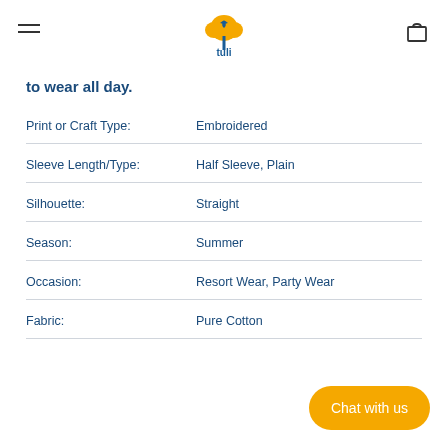tuli (logo)
to wear all day.
| Attribute | Value |
| --- | --- |
| Print or Craft Type: | Embroidered |
| Sleeve Length/Type: | Half Sleeve, Plain |
| Silhouette: | Straight |
| Season: | Summer |
| Occasion: | Resort Wear, Party Wear |
| Fabric: | Pure Cotton |